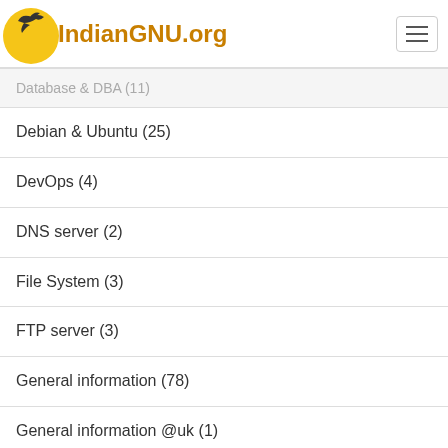IndianGNU.org
Database & DBA (11)
Debian & Ubuntu (25)
DevOps (4)
DNS server (2)
File System (3)
FTP server (3)
General information (78)
General information @uk (1)
Google Cloud (GCP) (1)
GRUB boot loader (5)